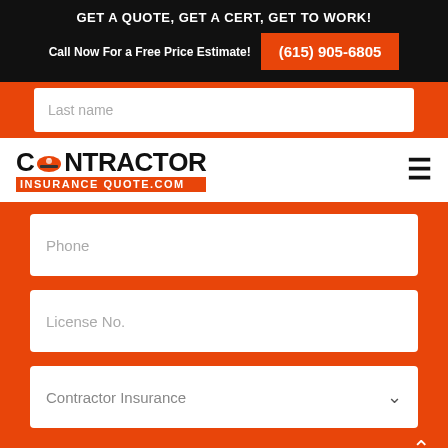GET A QUOTE, GET A CERT, GET TO WORK!
Call Now For a Free Price Estimate! (615) 905-6805
[Figure (screenshot): Form field with placeholder text 'Last name']
[Figure (logo): Contractor Insurance Quote .com logo with orange hard hat icon]
[Figure (screenshot): Form field with placeholder text 'Phone']
[Figure (screenshot): Form field with placeholder text 'License No.']
[Figure (screenshot): Dropdown field with placeholder text 'Contractor Insurance']
Select Type Of Coverage
General Liability Insurance